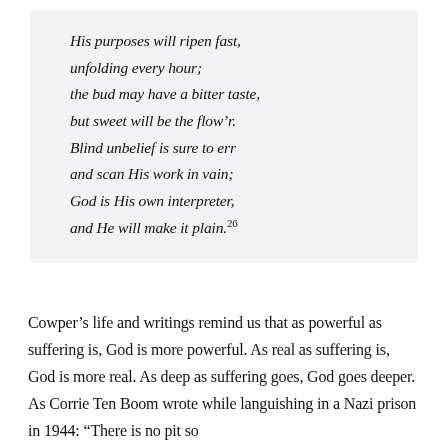His purposes will ripen fast, unfolding every hour; the bud may have a bitter taste, but sweet will be the flow’r. Blind unbelief is sure to err and scan His work in vain; God is His own interpreter, and He will make it plain.26
Cowper’s life and writings remind us that as powerful as suffering is, God is more powerful. As real as suffering is, God is more real. As deep as suffering goes, God goes deeper. As Corrie Ten Boom wrote while languishing in a Nazi prison in 1944: “There is no pit so